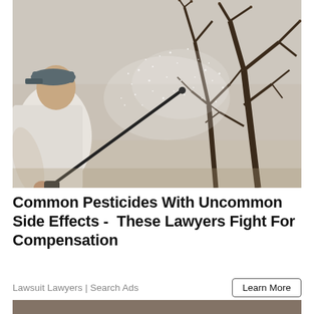[Figure (photo): Person in white t-shirt and cap spraying pesticide from a wand applicator onto bare deciduous trees, mist visible in the air, outdoor winter/early spring setting]
Common Pesticides With Uncommon Side Effects -  These Lawyers Fight For Compensation
Lawsuit Lawyers | Search Ads
[Figure (photo): Partial bottom photo, cropped, showing another scene]